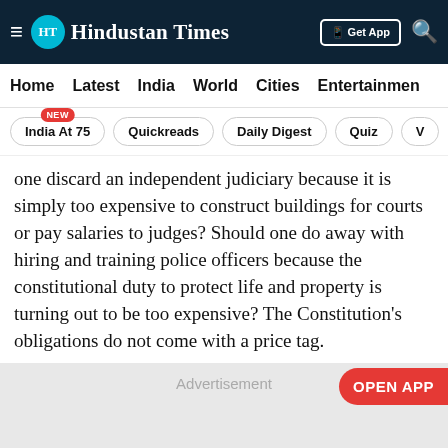Hindustan Times
Home | Latest | India | World | Cities | Entertainment
India At 75 NEW | Quickreads | Daily Digest | Quiz | V
one discard an independent judiciary because it is simply too expensive to construct buildings for courts or pay salaries to judges? Should one do away with hiring and training police officers because the constitutional duty to protect life and property is turning out to be too expensive? The Constitution's obligations do not come with a price tag.
[Figure (other): Advertisement placeholder with OPEN APP button]